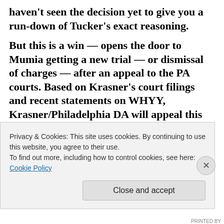haven't seen the decision yet to give you a run-down of Tucker's exact reasoning.
But this is a win — opens the door to Mumia getting a new trial — or dismissal of charges — after an appeal to the PA courts. Based on Krasner's court filings and recent statements on WHYY, Krasner/Philadelphia DA will appeal this decision by Judge Tucker. We need to be clear that Krasner stands with the FOP to keep Mumia locked in prison for the rest of his life.
We will be ALL OUT against Krasner appealing this
Privacy & Cookies: This site uses cookies. By continuing to use this website, you agree to their use.
To find out more, including how to control cookies, see here: Cookie Policy
Close and accept